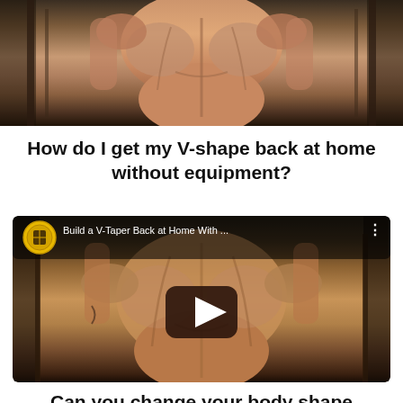[Figure (photo): Muscular back of a male bodybuilder from behind, showing defined back muscles, in a gym setting with equipment in background]
How do I get my V-shape back at home without equipment?
[Figure (screenshot): YouTube video thumbnail showing muscular man's back in a gym with play button overlay. Video title: 'Build a V-Taper Back at Home With ...']
Can you change your body shape